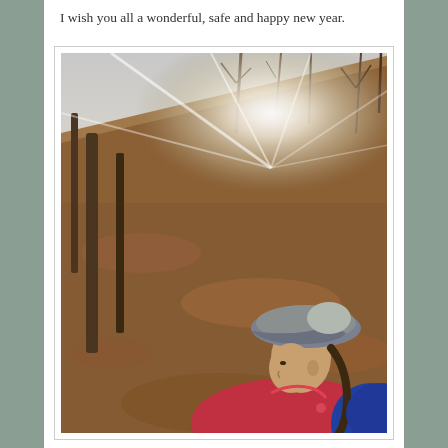I wish you all a wonderful, safe and happy new year.
[Figure (photo): A woman wearing a grey trucker cap and a red and blue jacket looks to the side while on a forested hillside trail covered in autumn leaves. Bright sunlight flares through bare trees at the top of the slope.]